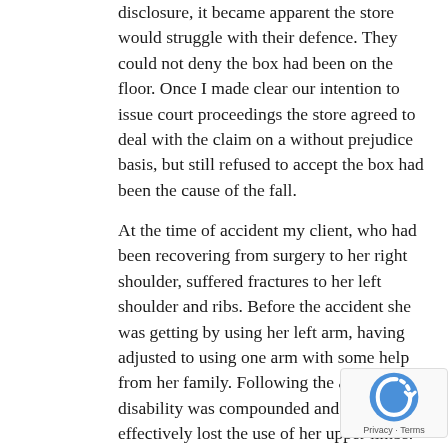disclosure, it became apparent the store would struggle with their defence. They could not deny the box had been on the floor. Once I made clear our intention to issue court proceedings the store agreed to deal with the claim on a without prejudice basis, but still refused to accept the box had been the cause of the fall.
At the time of accident my client, who had been recovering from surgery to her right shoulder, suffered fractures to her left shoulder and ribs. Before the accident she was getting by using her left arm, having adjusted to using one arm with some help from her family. Following the accident, her disability was compounded and she effectively lost the use of her upper limbs.  She required help with personal hygiene and activities of daily living, including cooking, cleaning and shopping. She was also unable to go out unaccompanied or to use public transport.